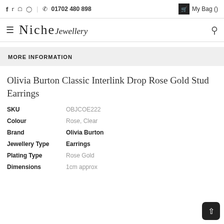f  twitter  pinterest  instagram  |  phone  01702 480 898   My Bag ()
Niche Jewellery
MORE INFORMATION
Olivia Burton Classic Interlink Drop Rose Gold Stud Earrings
| Attribute | Value |
| --- | --- |
| SKU | OBJCOE222 |
| Colour | Rose, Clear |
| Brand | Olivia Burton |
| Jewellery Type | Earrings |
| Plating Type | Rose Gold |
| Dimensions | 1cm approx |